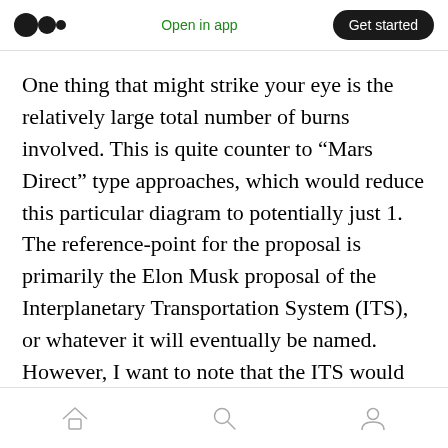Open in app | Get started
One thing that might strike your eye is the relatively large total number of burns involved. This is quite counter to “Mars Direct” type approaches, which would reduce this particular diagram to potentially just 1. The reference-point for the proposal is primarily the Elon Musk proposal of the Interplanetary Transportation System (ITS), or whatever it will eventually be named. However, I want to note that the ITS would involve orbital refueling, so some of the simplicity may be deceptive.
Home | Search | Profile